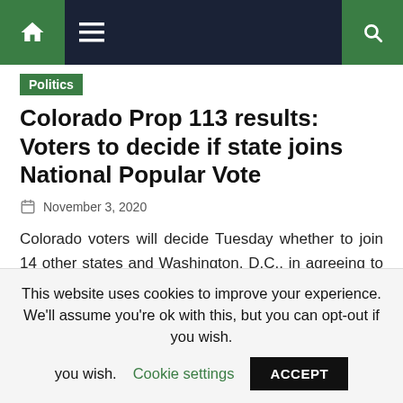Navigation bar with home, menu, and search icons
Politics
Colorado Prop 113 results: Voters to decide if state joins National Popular Vote
November 3, 2020
Colorado voters will decide Tuesday whether to join 14 other states and Washington, D.C., in agreeing to one day assign the state's Electoral College votes to the winner of the nationwide popular vote for president. Go to live results State lawmakers passed a bill in 2019 putting Colorado in the National Popular Vote Interstate Compact, [...]
This website uses cookies to improve your experience. We'll assume you're ok with this, but you can opt-out if you wish. Cookie settings ACCEPT